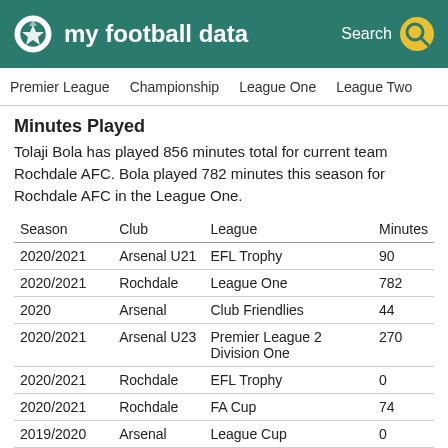my football data | Search
Premier League  Championship  League One  League Two
Minutes Played
Tolaji Bola has played 856 minutes total for current team Rochdale AFC. Bola played 782 minutes this season for Rochdale AFC in the League One.
| Season | Club | League | Minutes |
| --- | --- | --- | --- |
| 2020/2021 | Arsenal U21 | EFL Trophy | 90 |
| 2020/2021 | Rochdale | League One | 782 |
| 2020 | Arsenal | Club Friendlies | 44 |
| 2020/2021 | Arsenal U23 | Premier League 2 Division One | 270 |
| 2020/2021 | Rochdale | EFL Trophy | 0 |
| 2020/2021 | Rochdale | FA Cup | 74 |
| 2019/2020 | Arsenal | League Cup | 0 |
| 2019/2020 | Arsenal U21 | EFL Trophy | 120 |